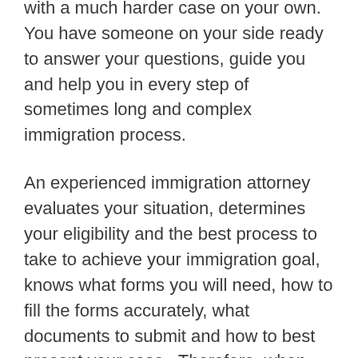time, frustration, and anguish in dealing with a much harder case on your own. You have someone on your side ready to answer your questions, guide you and help you in every step of sometimes long and complex immigration process.
An experienced immigration attorney evaluates your situation, determines your eligibility and the best process to take to achieve your immigration goal, knows what forms you will need, how to fill the forms accurately, what documents to submit and how to best present your case . Therefore, when you hire an experienced immigration attorney, you will have peace of mind that this life-changing immigration process will be achieved successfully without unnecessary delays. In addition, unlike document preparers and